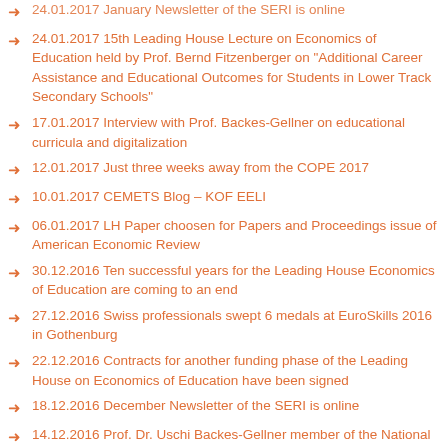24.01.2017 January Newsletter of the SERI is online (partial, cut at top)
24.01.2017 15th Leading House Lecture on Economics of Education held by Prof. Bernd Fitzenberger on "Additional Career Assistance and Educational Outcomes for Students in Lower Track Secondary Schools"
17.01.2017 Interview with Prof. Backes-Gellner on educational curricula and digitalization
12.01.2017 Just three weeks away from the COPE 2017
10.01.2017 CEMETS Blog – KOF EELI
06.01.2017 LH Paper choosen for Papers and Proceedings issue of American Economic Review
30.12.2016 Ten successful years for the Leading House Economics of Education are coming to an end
27.12.2016 Swiss professionals swept 6 medals at EuroSkills 2016 in Gothenburg
22.12.2016 Contracts for another funding phase of the Leading House on Economics of Education have been signed
18.12.2016 December Newsletter of the SERI is online
14.12.2016 Prof. Dr. Uschi Backes-Gellner member of the National Research Council of the Swiss National Science Foundation (SNSF)
09.12.2016 Alumni-Networking-Event marks 10-year anniversary of the Swiss Leading House on Economics of Education, Firm Behaviour and Training Policies!